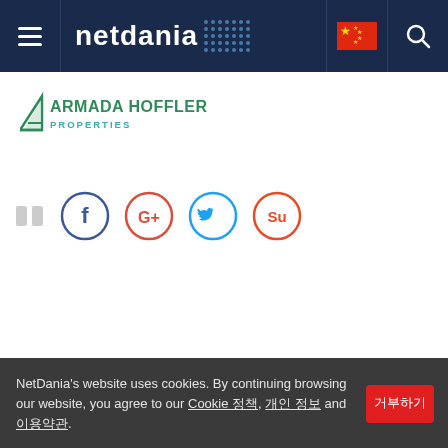netdania navigation bar with hamburger menu, logo, Chinese flag, and search icon
[Figure (logo): Armada Hoffler Properties logo with green triangle and teal/green text]
[Figure (infographic): Social share buttons row: Facebook (blue circle), Google+ (red circle), Twitter (blue circle), StumbleUpon (orange-red circle)]
NetDania's website uses cookies. By continuing browsing our website, you agree to our Cookie 정책, 개인 정보 and 이용약관.